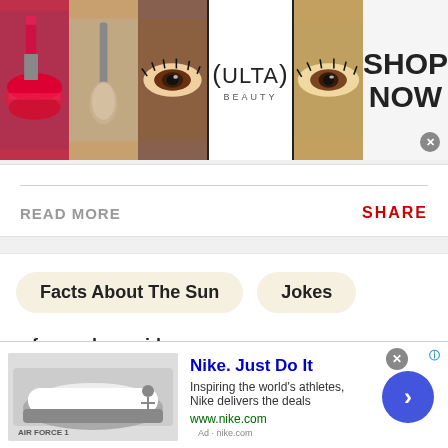[Figure (advertisement): Ulta Beauty advertisement banner with cosmetics images (lips, makeup brush, eye), Ulta logo, eye photo, and SHOP NOW call-to-action]
READ MORE
SHARE
Facts About The Sun   Jokes
funny dong vidoes
a frog cross the road becscasue the frog farted in the
[Figure (advertisement): Nike Just Do It advertisement with Air Force 1 shoe image, tagline 'Inspiring the world's athletes, Nike delivers the deals', www.nike.com]